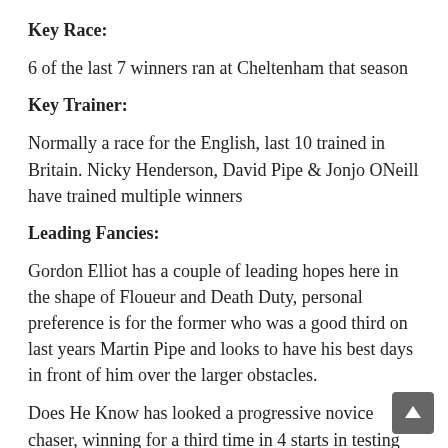Key Race:
6 of the last 7 winners ran at Cheltenham that season
Key Trainer:
Normally a race for the English, last 10 trained in Britain. Nicky Henderson, David Pipe & Jonjo ONeill have trained multiple winners
Leading Fancies:
Gordon Elliot has a couple of leading hopes here in the shape of Floueur and Death Duty, personal preference is for the former who was a good third on last years Martin Pipe and looks to have his best days in front of him over the larger obstacles.
Does He Know has looked a progressive novice chaser, winning for a third time in 4 starts in testing 3m Ascot Grade 2 last month, a course and distance winner he ticks plenty of boxes but that's represented in his price.
Tea Clipper finished third in last seasons Coral Cup and made a good start to his season over the larger obstacles when...